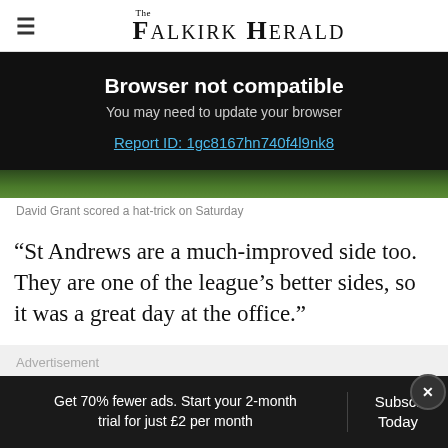The Falkirk Herald
[Figure (screenshot): Browser not compatible overlay on dark background with text: Browser not compatible, You may need to update your browser, Report ID: 1gc8167hn740f4l9nk8]
[Figure (photo): Grass/pitch photograph strip]
David Grant scored a hat-trick on Saturday
“St Andrews are a much-improved side too. They are one of the league’s better sides, so it was a great day at the office.”
Advertisement
Get 70% fewer ads. Start your 2-month trial for just £2 per month
Subscribe Today